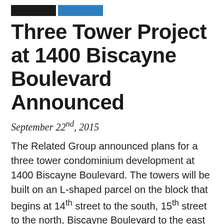[black bar] [blue bar]
Three Tower Project at 1400 Biscayne Boulevard Announced
September 22nd, 2015
The Related Group announced plans for a three tower condominium development at 1400 Biscayne Boulevard. The towers will be built on an L-shaped parcel on the block that begins at 14th street to the south, 15th street to the north, Biscayne Boulevard to the east and NE 2nd Avenue to the west. The southwest corner of this block is being developed by the Melo Group as a mixed-use residential tower called Melody Tower.